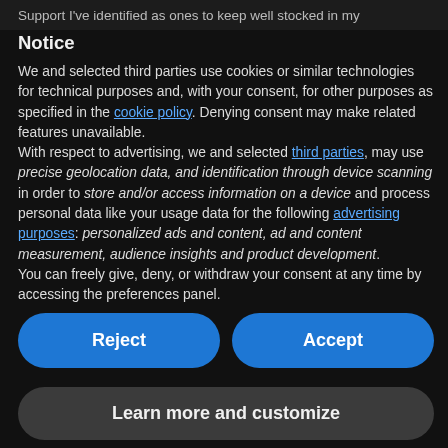Support I've identified as ones to keep well stocked in my
Notice
We and selected third parties use cookies or similar technologies for technical purposes and, with your consent, for other purposes as specified in the cookie policy. Denying consent may make related features unavailable.
With respect to advertising, we and selected third parties, may use precise geolocation data, and identification through device scanning in order to store and/or access information on a device and process personal data like your usage data for the following advertising purposes: personalized ads and content, ad and content measurement, audience insights and product development.
You can freely give, deny, or withdraw your consent at any time by accessing the preferences panel.
Reject
Accept
Learn more and customize